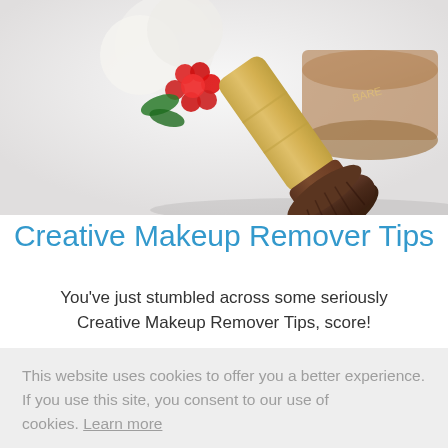[Figure (photo): Photo of a kabuki makeup brush with a wooden handle (bamboo-colored and brown) and fluffy bristles, alongside a red flower and leaves against a white background.]
Creative Makeup Remover Tips
You've just stumbled across some seriously Creative Makeup Remover Tips, score!
This website uses cookies to offer you a better experience. If you use this site, you consent to our use of cookies. Learn more
I Agree